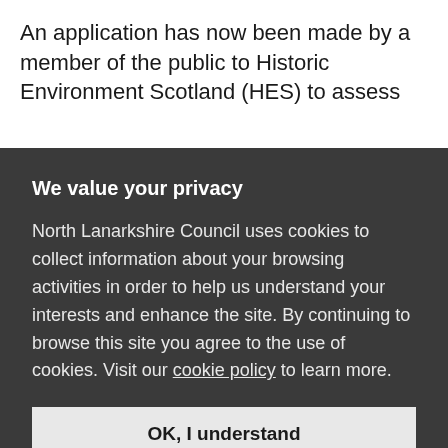An application has now been made by a member of the public to Historic Environment Scotland (HES) to assess
We value your privacy
North Lanarkshire Council uses cookies to collect information about your browsing activities in order to help us understand your interests and enhance the site. By continuing to browse this site you agree to the use of cookies. Visit our cookie policy to learn more.
OK, I understand